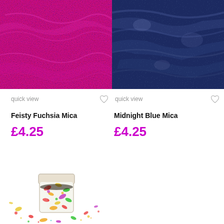[Figure (photo): Close-up of vibrant magenta/fuchsia mica powder with textured surface]
[Figure (photo): Close-up of dark midnight blue mica powder with textured surface]
quick view
quick view
Feisty Fuchsia Mica
£4.25
Midnight Blue Mica
£4.25
[Figure (photo): Small jar of multicolored chunky glitter mix with scattered glitter pieces around it on white background]